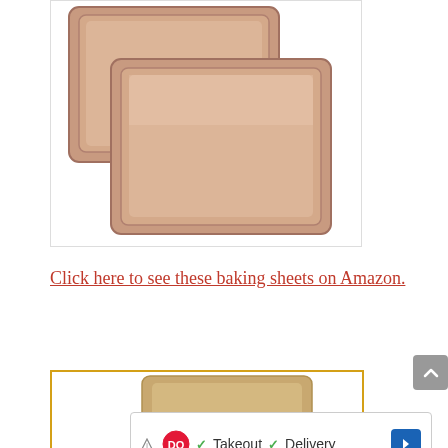[Figure (photo): Two rose gold / copper colored baking sheets stacked overlapping each other on a white background, inside a white bordered product image box]
Click here to see these baking sheets on Amazon.
[Figure (photo): Partial view of a second product image showing a tan/beige colored baking sheet with golden-orange border]
[Figure (other): Advertisement banner for Dairy Queen (DQ) showing checkmarks next to Takeout and Delivery with navigation arrow icon, close button X at bottom left, and ad attribution icon at left]